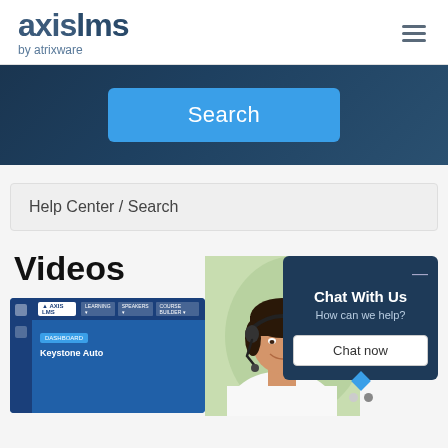[Figure (logo): AxisLMS by Atrixware logo — bold dark blue text 'axislms' with 'by atrixware' subtitle]
[Figure (screenshot): Hamburger menu icon (three horizontal lines) in top right header area]
[Figure (screenshot): Dark blue search banner with a bright blue 'Search' button]
Help Center / Search
Videos
[Figure (screenshot): Video thumbnail showing AxisLMS dashboard UI with Keystone Auto text]
[Figure (photo): Customer service representative wearing a headset, smiling]
[Figure (infographic): Chat widget overlay: 'Chat With Us / How can we help?' with a 'Chat now' button on dark blue background]